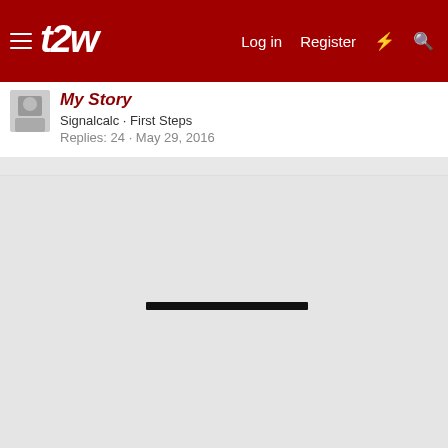t2w — Log in  Register
My Story
Signalcalc · First Steps
Replies: 24 · May 29, 2016